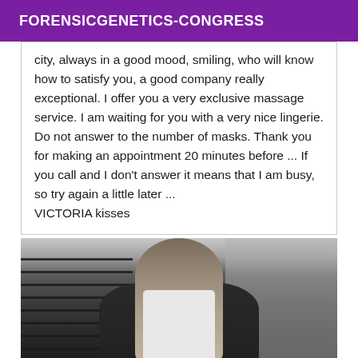FORENSICGENETICS-CONGRESS
city, always in a good mood, smiling, who will know how to satisfy you, a good company really exceptional. I offer you a very exclusive massage service. I am waiting for you with a very nice lingerie. Do not answer to the number of masks. Thank you for making an appointment 20 minutes before ... If you call and I don't answer it means that I am busy, so try again a little later ... VICTORIA kisses
[Figure (photo): Woman standing outdoors on a sidewalk near an iron fence, wearing a dark jacket over a white top and black pants, with long straight hair.]